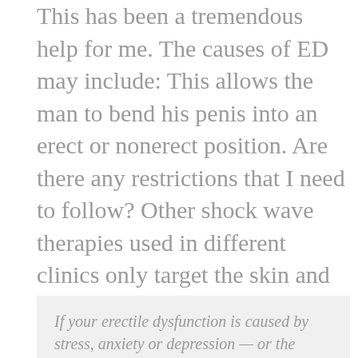This has been a tremendous help for me. The causes of ED may include: This allows the man to bend his penis into an erect or nonerect position. Are there any restrictions that I need to follow? Other shock wave therapies used in different clinics only target the skin and don't penetrate deep enough to reach the actual erectile tissues. News about penguin chicks, holiday bowl team day at seaworld and more ! These products are especially dangerous for men who take nitrates. Secondary sex characteristics, such as hair pattern, can point to hormone problems, which involve the endocrine system. Please read our online privacy statement.
If your erectile dysfunction is caused by stress, anxiety or depression — or the condition is creating stress and relationship tension — your doctor